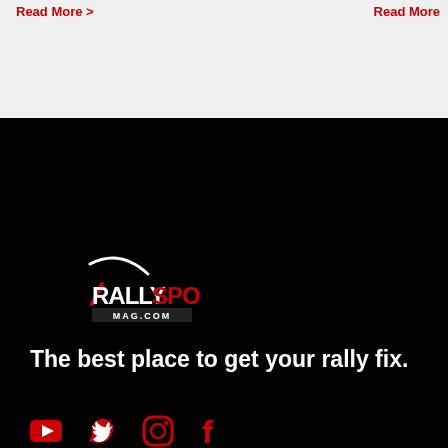Read More >   Read More
[Figure (logo): RallySport Mag.com logo — white and red text with a swoosh graphic on black background]
The best place to get your rally fix.
[Figure (infographic): Social media icons: YouTube, Twitter, Instagram, Facebook — all in red/outlined style]
Get exclusive access from only $6.55/month.
Get access to the latest rally news, features and exclusive podcasts.